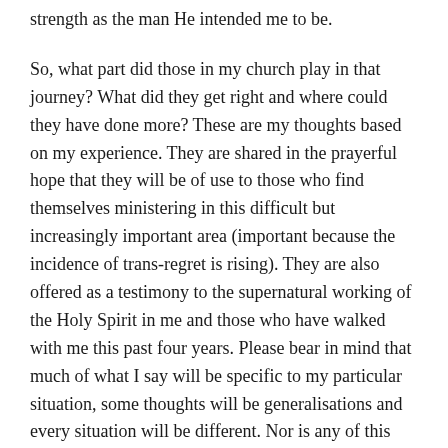strength as the man He intended me to be.
So, what part did those in my church play in that journey? What did they get right and where could they have done more? These are my thoughts based on my experience. They are shared in the prayerful hope that they will be of use to those who find themselves ministering in this difficult but increasingly important area (important because the incidence of trans-regret is rising). They are also offered as a testimony to the supernatural working of the Holy Spirit in me and those who have walked with me this past four years. Please bear in mind that much of what I say will be specific to my particular situation, some thoughts will be generalisations and every situation will be different. Nor is any of this rocket science, so please forgive me if anything I say comes across as patronising.